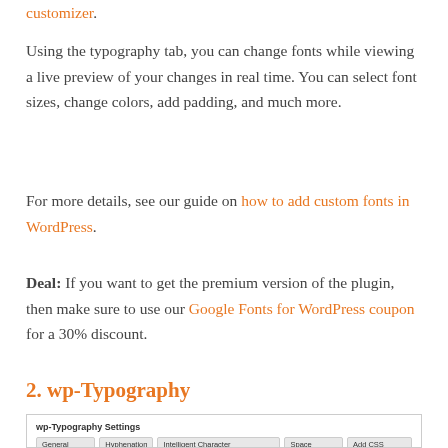customizer.
Using the typography tab, you can change fonts while viewing a live preview of your changes in real time. You can select font sizes, change colors, add padding, and much more.
For more details, see our guide on how to add custom fonts in WordPress.
Deal: If you want to get the premium version of the plugin, then make sure to use our Google Fonts for WordPress coupon for a 30% discount.
2. wp-Typography
[Figure (screenshot): Screenshot of wp-Typography Settings page showing tabs: General Setup, Hyphenation, Intelligent Character Replacement, Space Control, Add CSS Hooks. Below is a description and an Ignore HTML elements field with example HTML tags.]